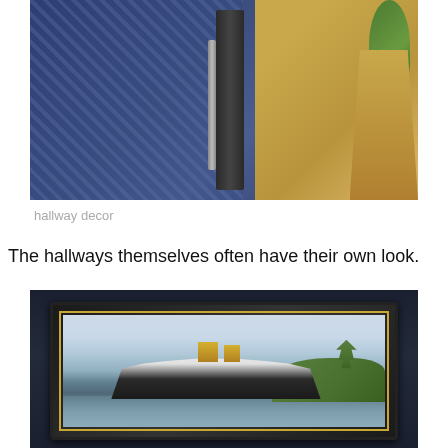[Figure (photo): Hallway decor photo showing blue patterned carpet, dark book/binder spine, and an art deco style golden planter with a green plant on top, in a hotel hallway corner]
hallway decor
The hallways themselves often have their own look.
[Figure (photo): Dark-walled hallway with a large painting in a heavy black wooden frame with gold inner border, depicting a large ocean liner ship passing through what appears to be the Panama Canal, with tropical greenery on the right bank and calm water]